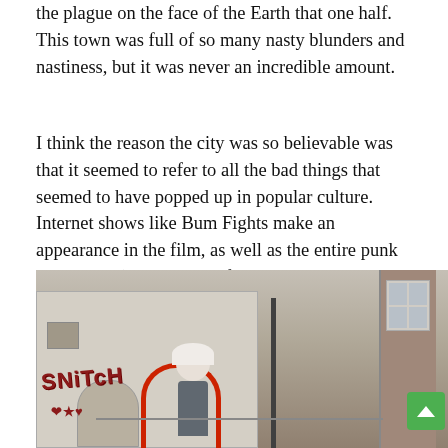the plague on the face of the Earth that one half. This town was full of so many nasty blunders and nastiness, but it was never an incredible amount.
I think the reason the city was so believable was that it seemed to refer to all the bad things that seemed to have popped up in popular culture. Internet shows like Bum Fights make an appearance in the film, as well as the entire punk subculture (although it is far more corrupt than its real-life counterpart), which makes it much more realistic and accessible to the public. spectator. I would like to think that the producers of this film were trying to make a statement about the current affairs of humanity on this planet by the way the city is blatantly satirizing current human behavior, but maybe I am trying to read too far into the movie.
[Figure (photo): A photograph of a run-down building exterior with graffiti reading 'SNiTcH' on the wall, a red arch doorway, a metal pole, chain-link fence, and an elderly person with white hair standing in front. A green scroll-up button is overlaid in the bottom right corner.]